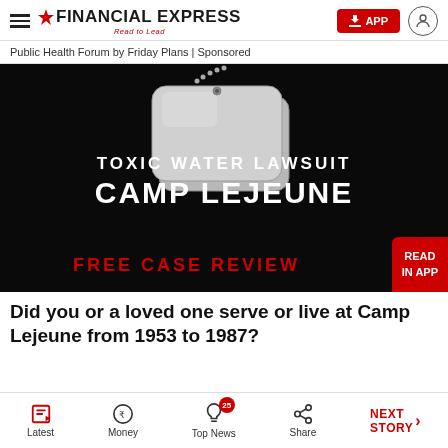Financial Express — Read to Lead
Public Health Forum by Friday Plans | Sponsored
[Figure (photo): Advertisement image with military dog tags on black background. Text reads: TOXIC WATER LAWSUIT CAMP LEJEUNE FREE CASE REVIEW. Red badge says READ IN APP.]
Did you or a loved one serve or live at Camp Lejeune from 1953 to 1987?
Latest | Money | Top News (25) | Share | NEXT STORY